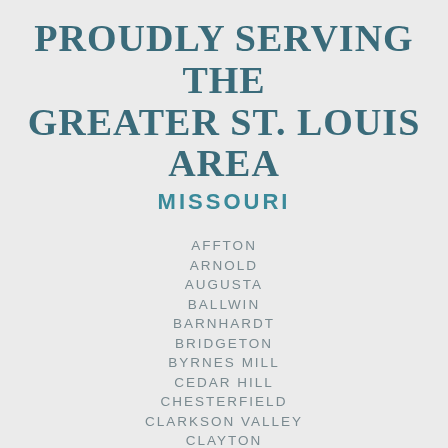PROUDLY SERVING THE GREATER ST. LOUIS AREA
MISSOURI
AFFTON
ARNOLD
AUGUSTA
BALLWIN
BARNHARDT
BRIDGETON
BYRNES MILL
CEDAR HILL
CHESTERFIELD
CLARKSON VALLEY
CLAYTON
CRESTWOOD
CREVE COEUR